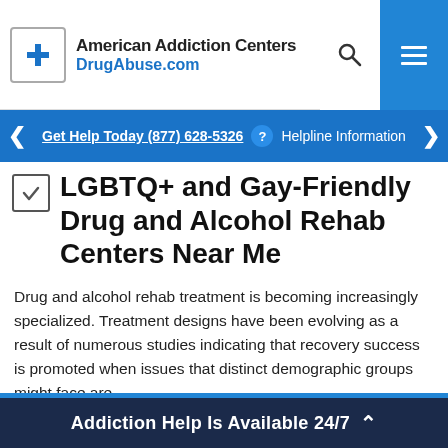American Addiction Centers DrugAbuse.com
Get Help Today (877) 628-5326  Helpline Information
LGBTQ+ and Gay-Friendly Drug and Alcohol Rehab Centers Near Me
Drug and alcohol rehab treatment is becoming increasingly specialized. Treatment designs have been evolving as a result of numerous studies indicating that recovery success is promoted when issues that distinct demographic groups might face are ...
... lesbian community in need of more holistic substance abuse treatment programs . At more than 200 ... helpline. We can help you locate a gay addiction treatment center that will respect your individual needs and point you ... continue reading
Addiction Help Is Available 24/7